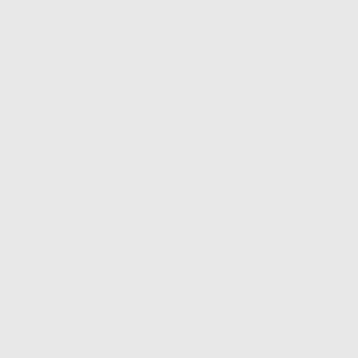Obama (Constitutional/Civil Rights Lawyer – info@... Clinton <questions@friendsofhillary.com>, Deputy Pr... <info@maryharney.ie>, Brid Treacy (Acting Manageres... MP (Leader of UK Opposition Party) <camerond@p... The Whitehouse, Washington DC <president@whitehouse... on Ireland) <info@transparency.ie>, Peter Robinson M... First Minister of Northern Ireland) <info@sinnfein.o... Gerard J Madden (Senior Social Worker, Omagh, Co... Eamon O'Cuiv TD <aire@pobail.ie>, Republic of Irela... Walshe, c/o National Crime Prevention Office, Garda S... Leader & Minister for Environment, Heritage and Local G... Energy and Natural Resources <eamon.ryan@oireachtas... <tfoster@slt.n-i.nhs.uk>, Mary Carr (Community Welf... Health Centre, County Tyrone <permanent.secretary@dh... <Lakeshoremedicalcentre@hotmail.com>, Northern Ire... Ombudsman for Northern Ireland <info@policeombudsm... Haugh, Ms Carmel Foley, and Mr Conor Brady) <info@... Pope Benedict XVI <ornet@ossrom.va>, Dr Hans-Ge... Republic Presidency of European Union Council <public... of European Union Commission) <sg-web-president@ec... The Registrar, European Court of Human Rights, Counci... European Ombudsman) Case ref: 1867/2006/IP) <euro-o... for YH615974D) <Private.Office@dsdni.gov.uk>, Vinco... McKenna (Former MEP) <pmmckenna@eircom.net>, S... Cashman (Environmental Directorate, The European Com... Society of England and Wales <info@lawsociety.org.uk>... <Enda.Kenny@oireachtas.ie>, Labour Party Leader, Ear... Libertas (No to Lisbon Campaign) <info@libertas.org>... Times Columnist) <mmurray@irish-times.ie>, Dr Maur... (Administrative Officer, Mental Health Ireland) <info@m... <humanrights@nuigalway.ie>, Senator Ivana Bacik, Bar... <ivana.bacik@oireachtas.ie>, John Reilly (Barrister, Too... <adrian.okane@pfahy.com>, Dr Jimmy Devins TD (For... <siobhandean@bigpond.com.au>, Gerald Finnerty & Ma... Co., Ballinalsloe, County Galway, Republic of Ireland)... (Professor of Jurisprudence Emeritus at Princeton Univers... <registrar@nui.ie>, Dr Joseph E. Stiglitz (Economist) <... <nmf@nelsonmandela.org>, Former President Mary Rob... info@unesco.org>, World Monuments Fund <wmf@w... Martin Gale (Maurine Bia...